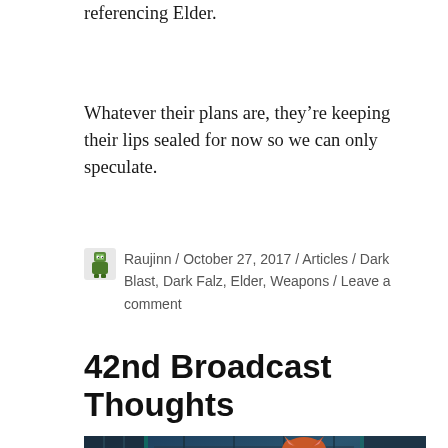referencing Elder.
Whatever their plans are, they're keeping their lips sealed for now so we can only speculate.
Raujinn / October 27, 2017 / Articles / Dark Blast, Dark Falz, Elder, Weapons / Leave a comment
42nd Broadcast Thoughts
[Figure (photo): Screenshot from a video game showing a character with orange/red hair and cat-like ears in a sci-fi environment with teal lighting and dark metallic panels]